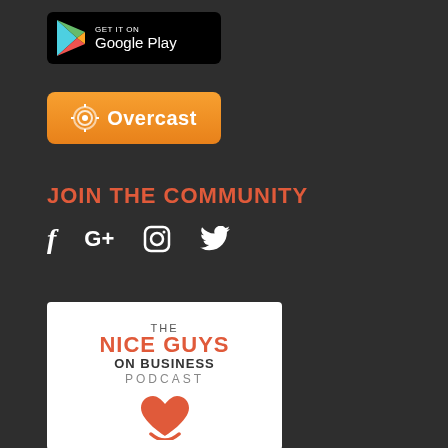[Figure (logo): Google Play store download button with play triangle icon and 'GET IT ON Google Play' text on black rounded rectangle background]
[Figure (logo): Overcast podcast app button with broadcast tower icon and 'Overcast' text on orange rounded rectangle background]
JOIN THE COMMUNITY
[Figure (infographic): Social media icons: Facebook (f), Google+ (G+), Instagram (camera), Twitter (bird)]
[Figure (logo): The Nice Guys on Business Podcast logo - white card with text and red heart/smile icon]